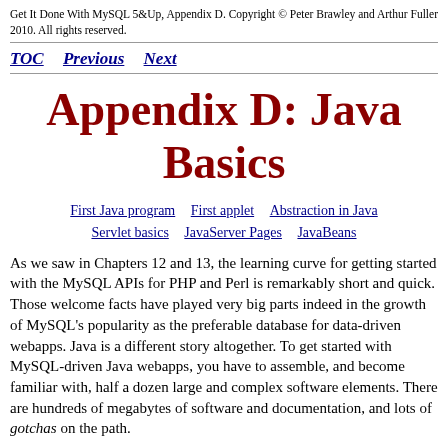Get It Done With MySQL 5&Up, Appendix D. Copyright © Peter Brawley and Arthur Fuller 2010. All rights reserved.
TOC   Previous   Next
Appendix D: Java Basics
First Java program   First applet   Abstraction in Java   Servlet basics   JavaServer Pages   JavaBeans
As we saw in Chapters 12 and 13, the learning curve for getting started with the MySQL APIs for PHP and Perl is remarkably short and quick. Those welcome facts have played very big parts indeed in the growth of MySQL's popularity as the preferable database for data-driven webapps. Java is a different story altogether. To get started with MySQL-driven Java webapps, you have to assemble, and become familiar with, half a dozen large and complex software elements. There are hundreds of megabytes of software and documentation, and lots of gotchas on the path.